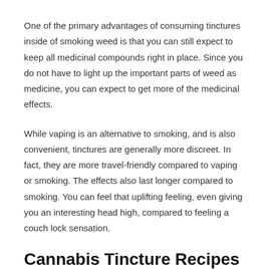One of the primary advantages of consuming tinctures inside of smoking weed is that you can still expect to keep all medicinal compounds right in place. Since you do not have to light up the important parts of weed as medicine, you can expect to get more of the medicinal effects.
While vaping is an alternative to smoking, and is also convenient, tinctures are generally more discreet. In fact, they are more travel-friendly compared to vaping or smoking. The effects also last longer compared to smoking. You can feel that uplifting feeling, even giving you an interesting head high, compared to feeling a couch lock sensation.
Cannabis Tincture Recipes